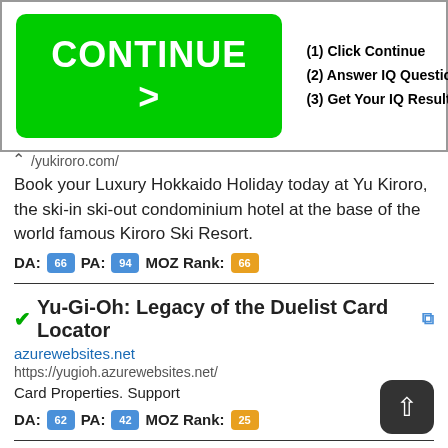[Figure (screenshot): Advertisement banner with green CONTINUE > button on left and IQ test steps on right: (1) Click Continue, (2) Answer IQ Questions, (3) Get Your IQ Result]
/yukiroro.com/
Book your Luxury Hokkaido Holiday today at Yu Kiroro, the ski-in ski-out condominium hotel at the base of the world famous Kiroro Ski Resort.
DA: [66] PA: [94] MOZ Rank: [66]
Yu-Gi-Oh: Legacy of the Duelist Card Locator
azurewebsites.net
https://yugioh.azurewebsites.net/
Card Properties. Support
DA: [62] PA: [42] MOZ Rank: [25]
www.scmp.com
scmp.com
https://www.scmp.com/sport/golf/article/3188899/korn-ferry-tour-... earns-right-join-games-best-5-asian-golfers